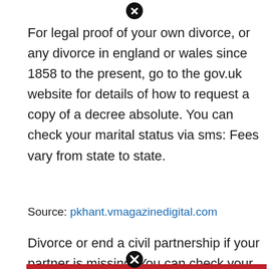For legal proof of your own divorce, or any divorce in england or wales since 1858 to the present, go to the gov.uk website for details of how to request a copy of a decree absolute. You can check your marital status via sms: Fees vary from state to state.
Source: pkhant.vmagazinedigital.com
Divorce or end a civil partnership if your partner is missing. You can check your marriage status.
[Figure (photo): DVD or media box cover showing 'THE COMPLETE FIRST SEASON' in white text on red banner, 'AS SEEN ON SHOWTIME' in large red bold text, 'Eric Schaeffer' text visible at bottom left, with partial image of people on the right side.]